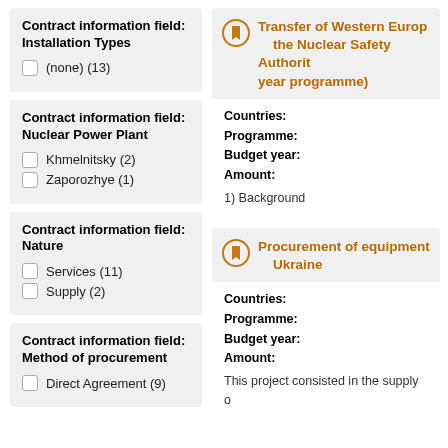Contract information field: Installation Types
(none) (13)
Contract information field: Nuclear Power Plant
Khmelnitsky (2)
Zaporozhye (1)
Contract information field: Nature
Services (11)
Supply (2)
Contract information field: Method of procurement
Direct Agreement (9)
Transfer of Western Europ... the Nuclear Safety Authorit... year programme)
Countries:
Programme:
Budget year:
Amount:
1) Background
Procurement of equipment... Ukraine
Countries:
Programme:
Budget year:
Amount:
This project consisted in the supply o...